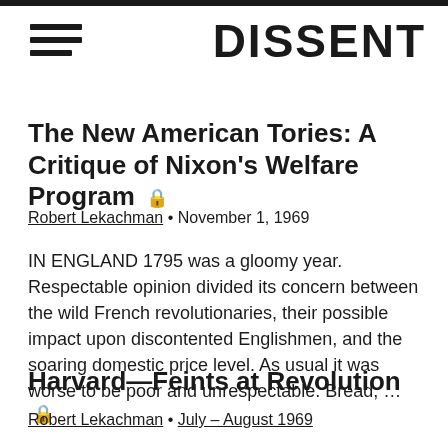[Figure (logo): Hamburger menu icon (three horizontal bars)]
DISSENT
The New American Tories: A Critique of Nixon’s Welfare Program 🔒
Robert Lekachman • November 1, 1969
IN ENGLAND 1795 was a gloomy year. Respectable opinion divided its concern between the wild French revolutionaries, their possible impact upon discontented Englishmen, and the soaring domestic price level. As usual it was worse to be poor and unrespectable. Bread, …
Harvard—Feints at Revolution 🔒
Robert Lekachman • July – August 1969